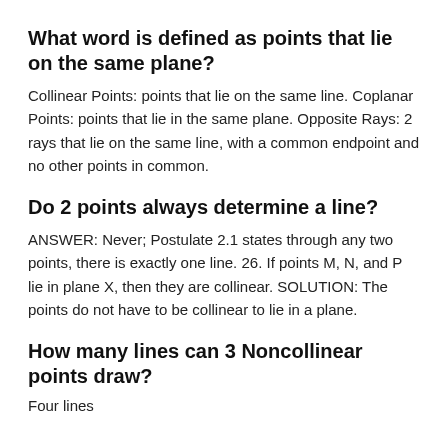What word is defined as points that lie on the same plane?
Collinear Points: points that lie on the same line. Coplanar Points: points that lie in the same plane. Opposite Rays: 2 rays that lie on the same line, with a common endpoint and no other points in common.
Do 2 points always determine a line?
ANSWER: Never; Postulate 2.1 states through any two points, there is exactly one line. 26. If points M, N, and P lie in plane X, then they are collinear. SOLUTION: The points do not have to be collinear to lie in a plane.
How many lines can 3 Noncollinear points draw?
Four lines